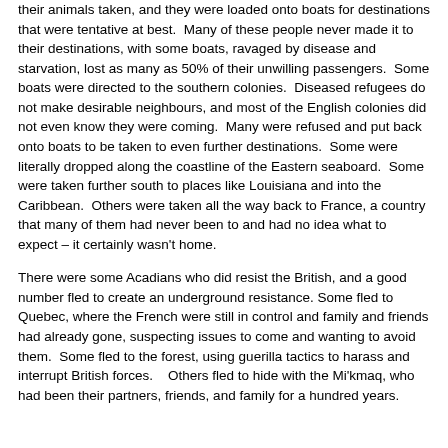their animals taken, and they were loaded onto boats for destinations that were tentative at best.  Many of these people never made it to their destinations, with some boats, ravaged by disease and starvation, lost as many as 50% of their unwilling passengers.  Some boats were directed to the southern colonies.  Diseased refugees do not make desirable neighbours, and most of the English colonies did not even know they were coming.  Many were refused and put back onto boats to be taken to even further destinations.  Some were literally dropped along the coastline of the Eastern seaboard.  Some were taken further south to places like Louisiana and into the Caribbean.  Others were taken all the way back to France, a country that many of them had never been to and had no idea what to expect – it certainly wasn't home.
There were some Acadians who did resist the British, and a good number fled to create an underground resistance. Some fled to Quebec, where the French were still in control and family and friends had already gone, suspecting issues to come and wanting to avoid them.  Some fled to the forest, using guerilla tactics to harass and interrupt British forces.   Others fled to hide with the Mi'kmaq, who had been their partners, friends, and family for a hundred years.